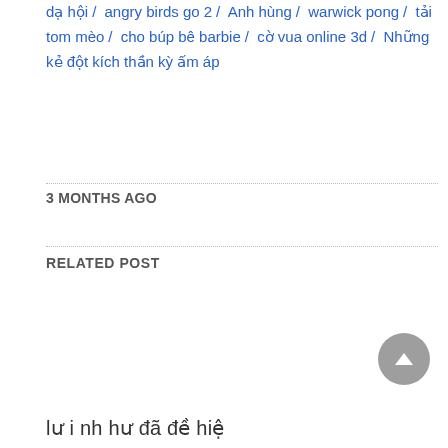dạ hội / angry birds go 2 / Anh hùng / warwick pong / tải tom mèo / cho búp bê barbie / cờ vua online 3d / Những kẻ đột kích thần kỳ ấm áp
3 MONTHS AGO
RELATED POST
lư i nh hư đã đề hiệ